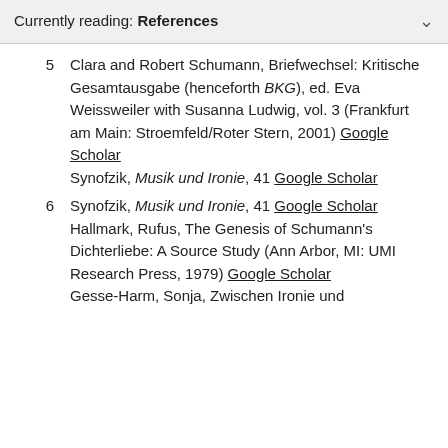Currently reading: References
5  Clara and Robert Schumann, Briefwechsel: Kritische Gesamtausgabe (henceforth BKG), ed. Eva Weissweiler with Susanna Ludwig, vol. 3 (Frankfurt am Main: Stroemfeld/Roter Stern, 2001) Google Scholar
Synofzik, Musik und Ironie, 41 Google Scholar
6  Synofzik, Musik und Ironie, 41 Google Scholar
Hallmark, Rufus, The Genesis of Schumann's Dichterliebe: A Source Study (Ann Arbor, MI: UMI Research Press, 1979) Google Scholar
Gesse-Harm, Sonja, Zwischen Ironie und